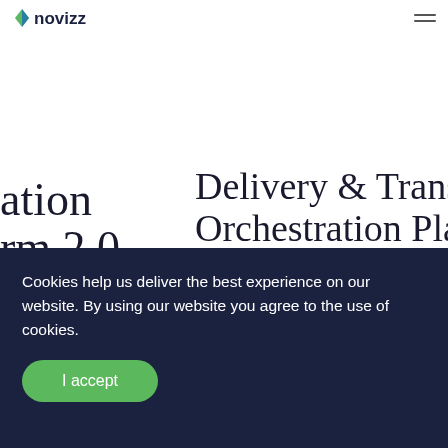Novizz logo and navigation menu
ation rm 2.0
Delivery & Transport Orchestration Platform 2.0 Powered by AI & ML
Customer Experience
Cookies help us deliver the best experience on our website. By using our website you agree to the use of cookies.
I accept